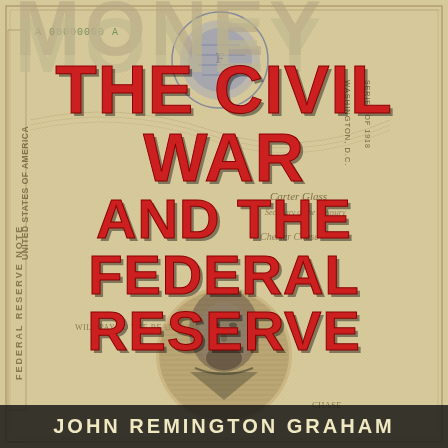[Figure (illustration): Book cover with background of antique US currency/Federal Reserve note showing intricate engraving patterns, portrait of Abraham Lincoln at bottom center in a circular vignette, cursive signatures, and text reading 'WASHINGTON D.C.' and 'SERIES OF 1918' visible on note background]
MONEY THE CIVIL WAR AND THE FEDERAL RESERVE
JOHN REMINGTON GRAHAM